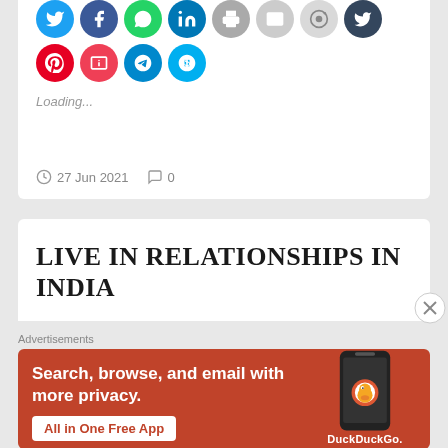[Figure (other): Social media sharing icon buttons: Twitter, Facebook, WhatsApp, LinkedIn, Print, Email, Reddit, Tumblr, Pinterest (top row); Pocket, Telegram, Skype (second row)]
Loading...
27 Jun 2021   0
LIVE IN RELATIONSHIPS IN INDIA
Advertisements
[Figure (other): DuckDuckGo advertisement banner: 'Search, browse, and email with more privacy. All in One Free App' with phone image showing DuckDuckGo logo.]